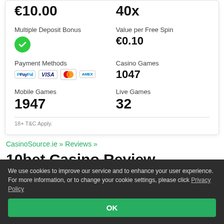€10.00
40x
Multiple Deposit Bonus
Value per Free Spin
€0.10
Payment Methods
Casino Games
1047
Mobile Games
1947
Live Games
32
18+ T&C Apply.
CasinoSource.ie » Reviews »
10bet Casino Review
Last Updated: 03/12/2021
Founded in 2003, 10bet Casino offers Irish players a
We use cookies to improve our service and to enhance your user experience. For more information, or to change your cookie settings, please click Privacy Policy
OK